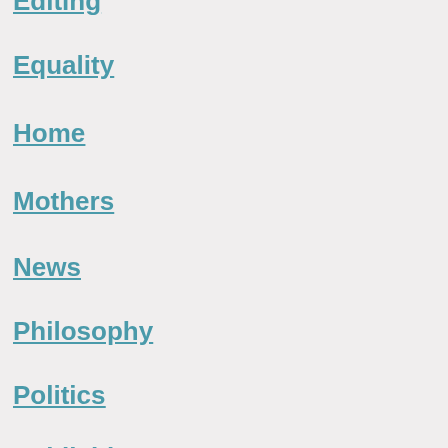Editing
Equality
Home
Mothers
News
Philosophy
Politics
Publishing
Women
Writing